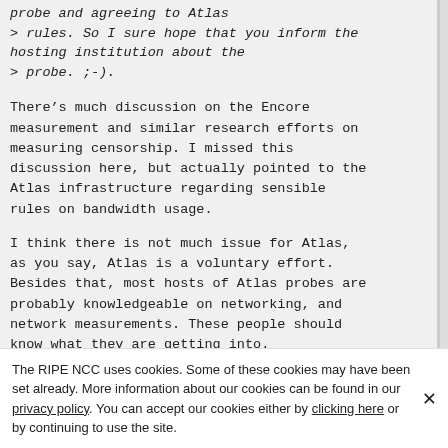probe and agreeing to Atlas
> rules. So I sure hope that you inform the hosting institution about the
> probe. ;-).
There’s much discussion on the Encore measurement and similar research efforts on measuring censorship. I missed this discussion here, but actually pointed to the Atlas infrastructure regarding sensible rules on bandwidth usage.
I think there is not much issue for Atlas, as you say, Atlas is a voluntary effort. Besides that, most hosts of Atlas probes are probably knowledgeable on networking, and network measurements. These people should know what they are getting into.
> PS: Personally I have been consciously
The RIPE NCC uses cookies. Some of these cookies may have been set already. More information about our cookies can be found in our privacy policy. You can accept our cookies either by clicking here or by continuing to use the site.